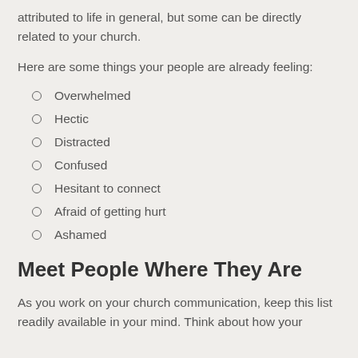attributed to life in general, but some can be directly related to your church.
Here are some things your people are already feeling:
Overwhelmed
Hectic
Distracted
Confused
Hesitant to connect
Afraid of getting hurt
Ashamed
Meet People Where They Are
As you work on your church communication, keep this list readily available in your mind. Think about how your